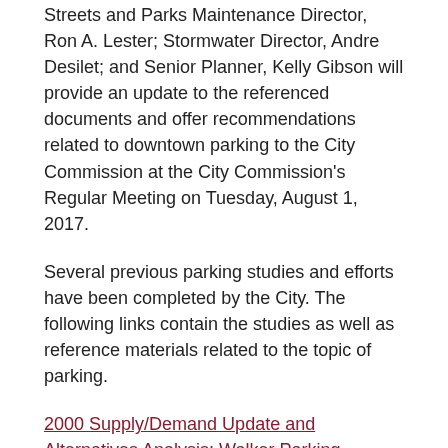Streets and Parks Maintenance Director, Ron A. Lester; Stormwater Director, Andre Desilet; and Senior Planner, Kelly Gibson will provide an update to the referenced documents and offer recommendations related to downtown parking to the City Commission at the City Commission's Regular Meeting on Tuesday, August 1, 2017.
Several previous parking studies and efforts have been completed by the City. The following links contain the studies as well as reference materials related to the topic of parking.
2000 Supply/Demand Update and Alternatives Analysis: Walker Parking Consultants
2002 Parking Master Plan - Phase 1: Walker Parking Consultants
2009 Traffic Circulation and Parking Study: Zev Cohen and Associates
2009 Front Street Title Opinion: Kavanaugh